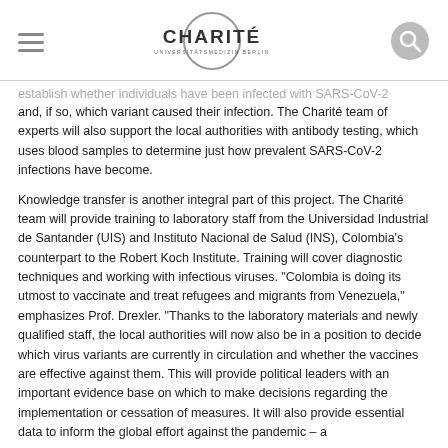Charité – Universitätsmedizin Berlin
establish whether individuals have been infected with SARS-CoV-2 and, if so, which variant caused their infection. The Charité team of experts will also support the local authorities with antibody testing, which uses blood samples to determine just how prevalent SARS-CoV-2 infections have become.
Knowledge transfer is another integral part of this project. The Charité team will provide training to laboratory staff from the Universidad Industrial de Santander (UIS) and Instituto Nacional de Salud (INS), Colombia's counterpart to the Robert Koch Institute. Training will cover diagnostic techniques and working with infectious viruses. "Colombia is doing its utmost to vaccinate and treat refugees and migrants from Venezuela," emphasizes Prof. Drexler. "Thanks to the laboratory materials and newly qualified staff, the local authorities will now also be in a position to decide which virus variants are currently in circulation and whether the vaccines are effective against them. This will provide political leaders with an important evidence base on which to make decisions regarding the implementation or cessation of measures. It will also provide essential data to inform the global effort against the pandemic – a